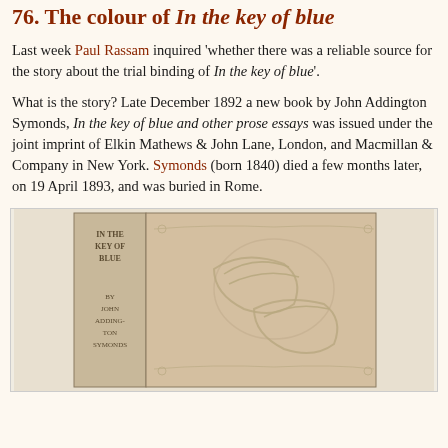76. The colour of In the key of blue
Last week Paul Rassam inquired 'whether there was a reliable source for the story about the trial binding of In the key of blue'.
What is the story? Late December 1892 a new book by John Addington Symonds, In the key of blue and other prose essays was issued under the joint imprint of Elkin Mathews & John Lane, London, and Macmillan & Company in New York. Symonds (born 1840) died a few months later, on 19 April 1893, and was buried in Rome.
[Figure (photo): Photograph of the front cover and spine of the book 'In the Key of Blue' by John Addington Symonds, showing a tan/beige cloth binding with embossed bird decoration on the front board and lettering on the spine.]